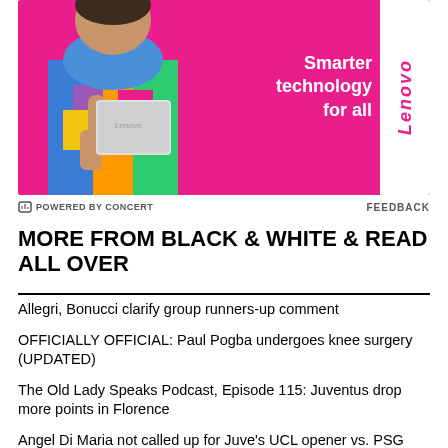[Figure (photo): Lenovo advertisement banner with pink background. A person in colorful dress holding a white laptop. Text reads 'Smarter technology for all' with Lenovo logo in white box on right side.]
POWERED BY CONCERT   FEEDBACK
MORE FROM BLACK & WHITE & READ ALL OVER
Allegri, Bonucci clarify group runners-up comment
OFFICIALLY OFFICIAL: Paul Pogba undergoes knee surgery (UPDATED)
The Old Lady Speaks Podcast, Episode 115: Juventus drop more points in Florence
Angel Di Maria not called up for Juve's UCL opener vs. PSG due to injury